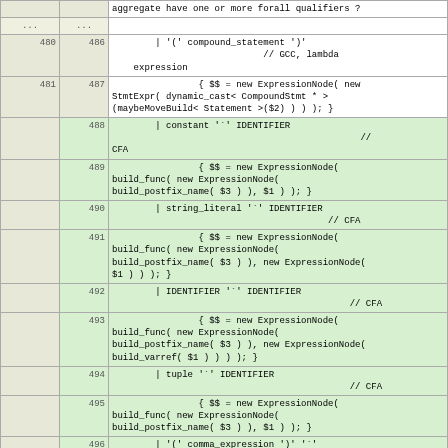|  |  | code |
| --- | --- | --- |
|  |  | aggregate have one or more forall qualifiers ? |
| ... | ... |  |
| 480 | 486 | | '(' compound_statement ')'
// GCC, lambda expression |
| 481 | 487 | { $$ = new ExpressionNode( new StmtExpr( dynamic_cast< CompoundStmt * >(maybeMoveBuild< Statement >($2) ) ); } |
|  | 488 | | constant '`' IDENTIFIER
// CFA |
|  | 489 | { $$ = new ExpressionNode( build_func( new ExpressionNode( build_postfix_name( $3 ) ), $1 ) ); } |
|  | 490 | | string_literal '`' IDENTIFIER
// CFA |
|  | 491 | { $$ = new ExpressionNode( build_func( new ExpressionNode( build_postfix_name( $3 ) ), new ExpressionNode( $1 ) ) ); } |
|  | 492 | | IDENTIFIER '`' IDENTIFIER
// CFA |
|  | 493 | { $$ = new ExpressionNode( build_func( new ExpressionNode( build_postfix_name( $3 ) ), new ExpressionNode( build_varref( $1 ) ) ) ); } |
|  | 494 | | tuple '`' IDENTIFIER
// CFA |
|  | 495 | { $$ = new ExpressionNode( build_func( new ExpressionNode( build_postfix_name( $3 ) ), $1 ) ); } |
|  | 496 | | '(' comma_expression ')' '`' IDENTIFIER
// CFA |
|  | 497 | { $$ = new ExpressionNode( build_func( new ExpressionNode( |